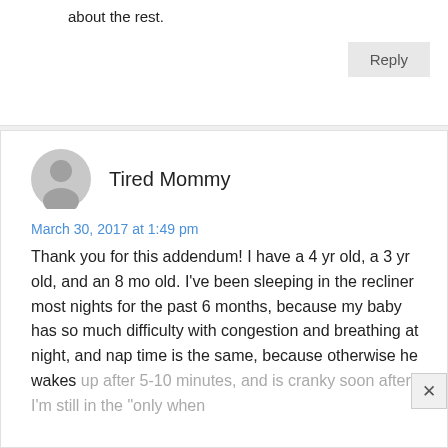about the rest.
Reply
Tired Mommy
March 30, 2017 at 1:49 pm
Thank you for this addendum! I have a 4 yr old, a 3 yr old, and an 8 mo old. I've been sleeping in the recliner most nights for the past 6 months, because my baby has so much difficulty with congestion and breathing at night, and nap time is the same, because otherwise he wakes up after 5-10 minutes, and is cranky soon after. I'm still in the "only when